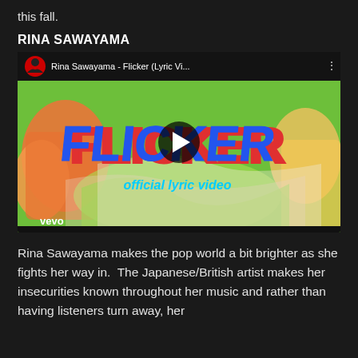this fall.
RINA SAWAYAMA
[Figure (screenshot): YouTube embedded video player showing the Rina Sawayama - Flicker (Lyric Video) by Vevo. The thumbnail features colorful animated artwork with the word FLICKER in large blue letters with red outline and 'official lyric video' text. A play button is visible in the center.]
Rina Sawayama makes the pop world a bit brighter as she fights her way in.  The Japanese/British artist makes her insecurities known throughout her music and rather than having listeners turn away, her